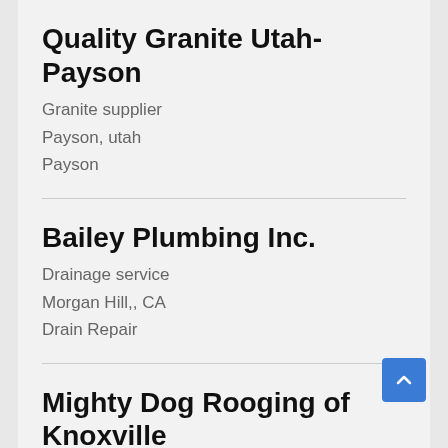Quality Granite Utah- Payson
Granite supplier
Payson, utah
Payson
Bailey Plumbing Inc.
Drainage service
Morgan Hill,, CA
Drain Repair
Mighty Dog Rooging of Knoxville
Roofing contractor